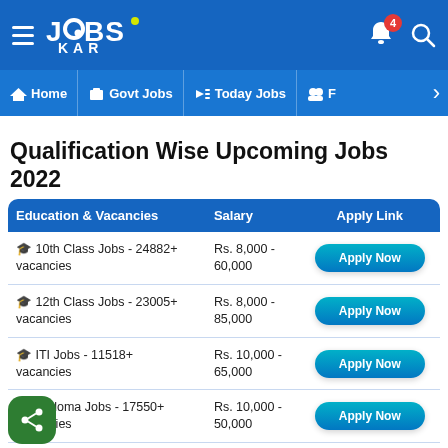[Figure (screenshot): JobsKar app header with logo, hamburger menu, bell notification (4), and search icon on blue background]
≡ JOBS KAR   🔔4  🔍
[Figure (screenshot): Navigation bar with Home, Govt Jobs, Today Jobs, F... options on blue background]
Qualification Wise Upcoming Jobs 2022
| Education & Vacancies | Salary | Apply Link |
| --- | --- | --- |
| 🎓 10th Class Jobs - 24882+ vacancies | Rs. 8,000 - 60,000 | Apply Now |
| 🎓 12th Class Jobs - 23005+ vacancies | Rs. 8,000 - 85,000 | Apply Now |
| 🎓 ITI Jobs - 11518+ vacancies | Rs. 10,000 - 65,000 | Apply Now |
| 🎓 Diploma Jobs - 17550+ vacancies | Rs. 10,000 - 50,000 | Apply Now |
| 🎓 B.Sc Jobs - 48806+ | Rs. 10,000 - | Apply Now |